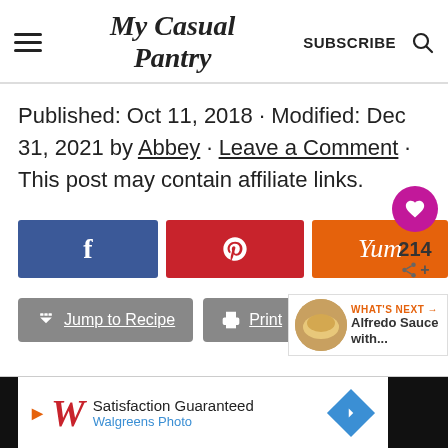My Casual Pantry
Published: Oct 11, 2018 · Modified: Dec 31, 2021 by Abbey · Leave a Comment · This post may contain affiliate links.
[Figure (infographic): Social sharing buttons: Facebook (f), Pinterest (pin icon), Yummly (Yum). Heart/save button (214 count). Share icon.]
[Figure (infographic): Jump to Recipe button with down-arrow icon, Print button with printer icon, What's Next panel showing Alfredo Sauce with... thumbnail]
[Figure (infographic): Advertisement banner: Walgreens Photo - Satisfaction Guaranteed]